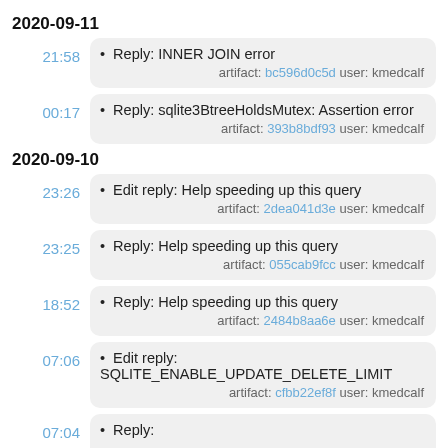2020-09-11
Reply: INNER JOIN error artifact: bc596d0c5d user: kmedcalf
Reply: sqlite3BtreeHoldsMutex: Assertion error artifact: 393b8bdf93 user: kmedcalf
2020-09-10
Edit reply: Help speeding up this query artifact: 2dea041d3e user: kmedcalf
Reply: Help speeding up this query artifact: 055cab9fcc user: kmedcalf
Reply: Help speeding up this query artifact: 2484b8aa6e user: kmedcalf
Edit reply: SQLITE_ENABLE_UPDATE_DELETE_LIMIT artifact: cfbb22ef8f user: kmedcalf
Reply: